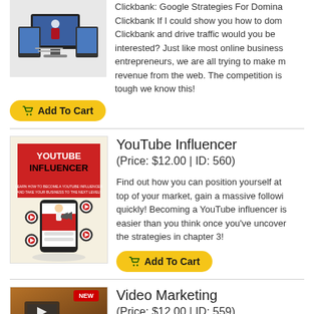[Figure (photo): Product box set image for Clickbank Google Strategies course - monitors and tablets showing course materials]
Clickbank: Google Strategies For Dominating Clickbank If I could show you how to dominate Clickbank and drive traffic would you be interested? Just like most online business entrepreneurs, we are all trying to make more revenue from the web. The competition is tough we know this!
[Figure (other): Add To Cart button (yellow/gold rounded button with shopping cart icon)]
[Figure (illustration): YouTube Influencer product cover - red and white design with figure holding megaphone and YouTube icons on mobile device]
YouTube Influencer
(Price: $12.00 | ID: 560)
Find out how you can position yourself at the top of your market, gain a massive following quickly! Becoming a YouTube influencer is easier than you think once you've uncovered the strategies in chapter 3!
[Figure (other): Add To Cart button (yellow/gold rounded button with shopping cart icon)]
[Figure (photo): Video Marketing product image - brown/orange tones with NEW badge]
Video Marketing
(Price: $12.00 | ID: 559)